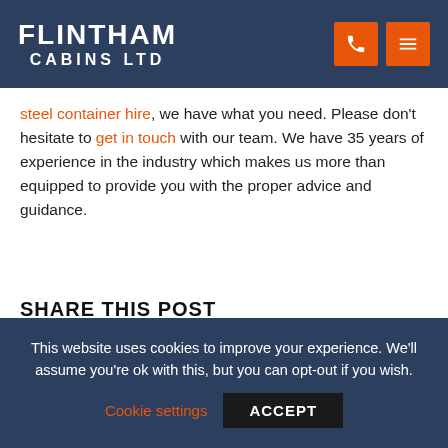FLINTHAM CABINS LTD
steel container hire, we have what you need. Please don't hesitate to get in touch with our team. We have 35 years of experience in the industry which makes us more than equipped to provide you with the proper advice and guidance.
SHARE THIS POST
Social share buttons: Facebook, Twitter, LinkedIn, Google+, Email
This website uses cookies to improve your experience. We'll assume you're ok with this, but you can opt-out if you wish. Cookie settings  ACCEPT